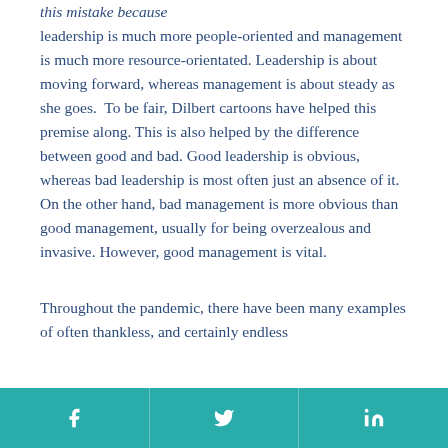this mistake because leadership is much more people-oriented and management is much more resource-orientated. Leadership is about moving forward, whereas management is about steady as she goes. To be fair, Dilbert cartoons have helped this premise along. This is also helped by the difference between good and bad. Good leadership is obvious, whereas bad leadership is most often just an absence of it. On the other hand, bad management is more obvious than good management, usually for being overzealous and invasive. However, good management is vital.
Throughout the pandemic, there have been many examples of often thankless, and certainly endless
social share icons: Facebook, Twitter, LinkedIn